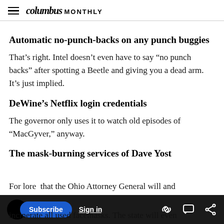columbus MONTHLY
Automatic no-punch-backs on any punch buggies
That’s right. Intel doesn’t even have to say “no punch backs” after spotting a Beetle and giving you a dead arm. It’s just implied.
DeWine’s Netflix login credentials
The governor only uses it to watch old episodes of “MacGyver,” anyway.
The mask-burning services of Dave Yost
For lore that the Ohio Attorney General will and incinerate all used facemasks. The state will even